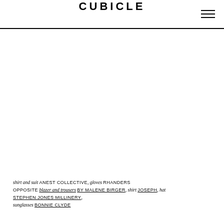CUBICLE
[Figure (photo): Large fashion editorial photograph area (white/blank in this rendering)]
shirt and suit ANEST COLLECTIVE, gloves RHANDERS OPPOSITE blazer and trousers BY MALENE BIRGER, shirt JOSEPH, hat STEPHEN JONES MILLINERY, sunglasses BONNIE CLYDE